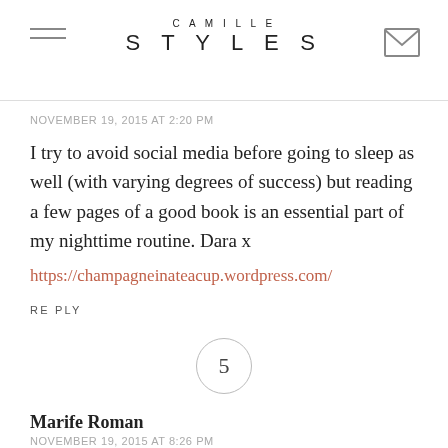CAMILLE STYLES
NOVEMBER 19, 2015 AT 2:20 PM
I try to avoid social media before going to sleep as well (with varying degrees of success) but reading a few pages of a good book is an essential part of my nighttime routine. Dara x
https://champagneinateacup.wordpress.com/
REPLY
5
Marife Roman
NOVEMBER 19, 2015 AT 8:26 PM